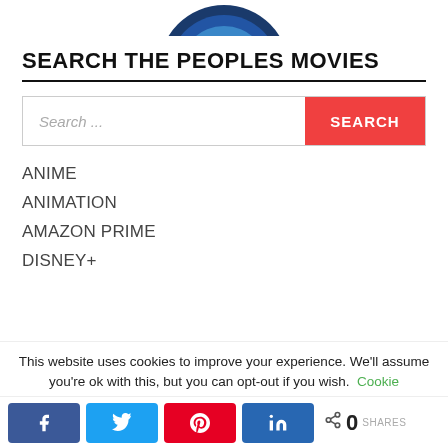[Figure (logo): Partial circular logo in blue tones, cropped at top]
SEARCH THE PEOPLES MOVIES
[Figure (other): Search bar with placeholder 'Search ...' and red SEARCH button]
ANIME
ANIMATION
AMAZON PRIME
DISNEY+
This website uses cookies to improve your experience. We'll assume you're ok with this, but you can opt-out if you wish. Cookie
[Figure (other): Social share buttons: Facebook, Twitter, Pinterest, LinkedIn, and share count showing 0 SHARES]